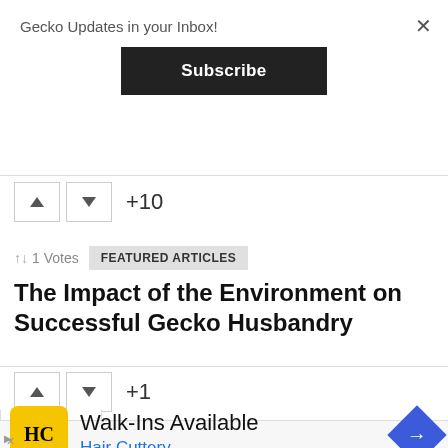Gecko Updates in your Inbox!
Subscribe
+10
↑↓ 1 Votes  FEATURED ARTICLES
The Impact of the Environment on Successful Gecko Husbandry
+1
[Figure (screenshot): Advertisement for Hair Cuttery showing Walk-Ins Available text, HC logo in yellow circle, and blue diamond directional arrow icon]